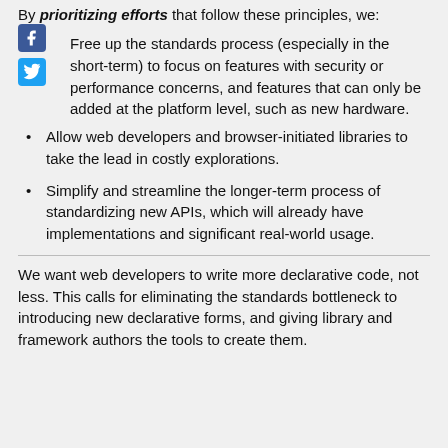By prioritizing efforts that follow these principles, we:
Free up the standards process (especially in the short-term) to focus on features with security or performance concerns, and features that can only be added at the platform level, such as new hardware.
Allow web developers and browser-initiated libraries to take the lead in costly explorations.
Simplify and streamline the longer-term process of standardizing new APIs, which will already have implementations and significant real-world usage.
We want web developers to write more declarative code, not less. This calls for eliminating the standards bottleneck to introducing new declarative forms, and giving library and framework authors the tools to create them.